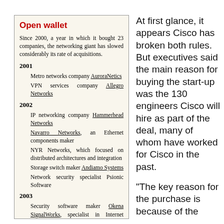Open wallet
Since 2000, a year in which it bought 23 companies, the networking giant has slowed considerably its rate of acquisitions.
2001
Metro networks company AuroraNetics
VPN services company Allegro Networks
2002
IP networking company Hammerhead Networks
Navarro Networks, an Ethernet components maker
NYR Networks, which focused on distributed architectures and integration
Storage switch maker Andiamo Systems
Network security specialist Psionic Software
2003
Security software maker Okena SignalWorks, specialist in Internet phone technology
At first glance, it appears Cisco has broken both rules. But executives said the main reason for buying the start-up was the 130 engineers Cisco will hire as part of the deal, many of whom have worked for Cisco in the past.
"The key reason for the purchase is because of the people," said Mike Volpi, senior vice president of Cisco's Routing Technology Group. "We will be getting 130...